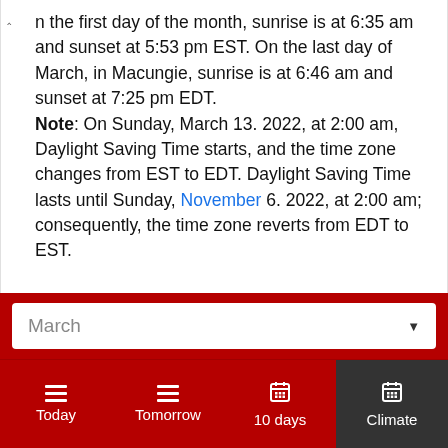n the first day of the month, sunrise is at 6:35 am and sunset at 5:53 pm EST. On the last day of March, in Macungie, sunrise is at 6:46 am and sunset at 7:25 pm EDT.
Note: On Sunday, March 13. 2022, at 2:00 am, Daylight Saving Time starts, and the time zone changes from EST to EDT. Daylight Saving Time lasts until Sunday, November 6. 2022, at 2:00 am; consequently, the time zone reverts from EDT to EST.
March (dropdown selector)